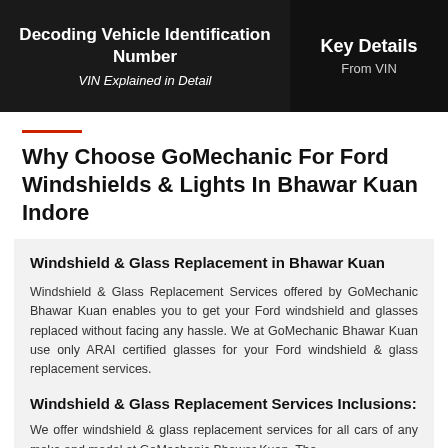[Figure (screenshot): Dark banner with two sections: left showing 'Decoding Vehicle Identification Number - VIN Explained in Detail', right showing 'Key Details From VIN']
Why Choose GoMechanic For Ford Windshields & Lights In Bhawar Kuan Indore
Windshield & Glass Replacement in Bhawar Kuan
Windshield & Glass Replacement Services offered by GoMechanic Bhawar Kuan enables you to get your Ford windshield and glasses replaced without facing any hassle. We at GoMechanic Bhawar Kuan use only ARAI certified glasses for your Ford windshield & glass replacement services.
Windshield & Glass Replacement Services Inclusions:
We offer windshield & glass replacement services for all cars of any make and model at GoMechanic Bhawar Kuan. The